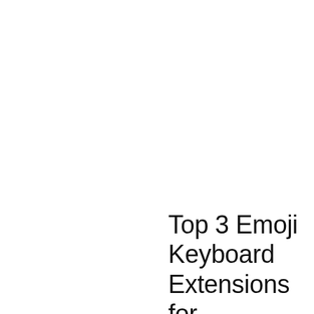Top 3 Emoji Keyboard Extensions for